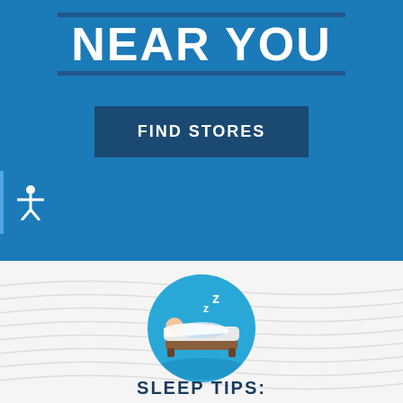FIND A STORE NEAR YOU
FIND STORES
[Figure (illustration): Circular icon with sleeping person in bed with Z letters indicating sleep, on a light blue background]
SLEEP TIPS: